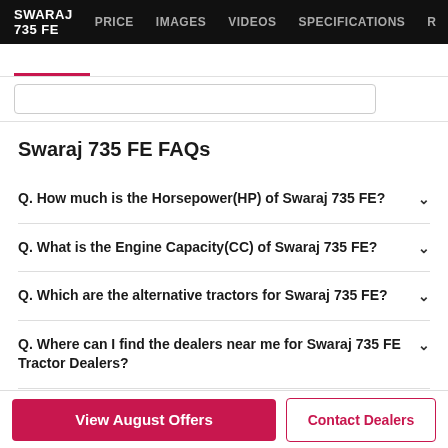SWARAJ 735 FE   PRICE   IMAGES   VIDEOS   SPECIFICATIONS   R
Swaraj 735 FE FAQs
Q. How much is the Horsepower(HP) of Swaraj 735 FE?
Q. What is the Engine Capacity(CC) of Swaraj 735 FE?
Q. Which are the alternative tractors for Swaraj 735 FE?
Q. Where can I find the dealers near me for Swaraj 735 FE Tractor Dealers?
View August Offers
Contact Dealers